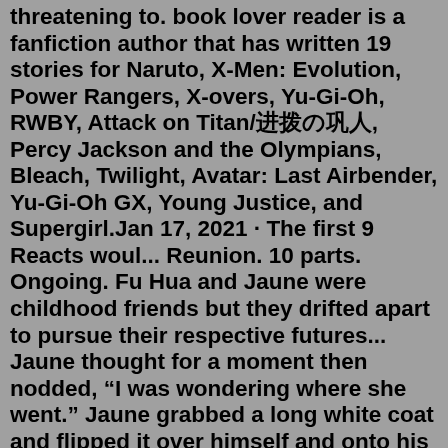threatening to. book lover reader is a fanfiction author that has written 19 stories for Naruto, X-Men: Evolution, Power Rangers, X-overs, Yu-Gi-Oh, RWBY, Attack on Titan/進撃の巨人, Percy Jackson and the Olympians, Bleach, Twilight, Avatar: Last Airbender, Yu-Gi-Oh GX, Young Justice, and Supergirl.Jan 17, 2021 · The first 9 Reacts woul... Reunion. 10 parts. Ongoing. Fu Hua and Jaune were childhood friends but they drifted apart to pursue their respective futures... Jaune thought for a moment then nodded, "I was wondering where she went." Jaune grabbed a long white coat and flipped it over himself and onto his body. Then he grabbed a pair of high caliber pistols, one light metal the other dark, and placed the large sword onto his back. "Where are we off to?" "A small town off to the south, place called Batha."Dec 04, 2021 · Devil May Cry 3 Devil May Cry. Chapter 23 – First Time for Everything. But we must stand strong against this foe, that wants to take over and run. Before they have a chance to celebrate their success in defending Vale from the Breach. RWBY.